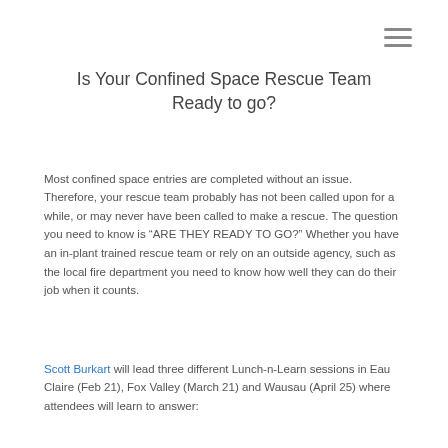Is Your Confined Space Rescue Team Ready to go?
Most confined space entries are completed without an issue. Therefore, your rescue team probably has not been called upon for a while, or may never have been called to make a rescue. The question you need to know is “ARE THEY READY TO GO?” Whether you have an in-plant trained rescue team or rely on an outside agency, such as the local fire department you need to know how well they can do their job when it counts.
Scott Burkart will lead three different Lunch-n-Learn sessions in Eau Claire (Feb 21), Fox Valley (March 21) and Wausau (April 25) where attendees will learn to answer: